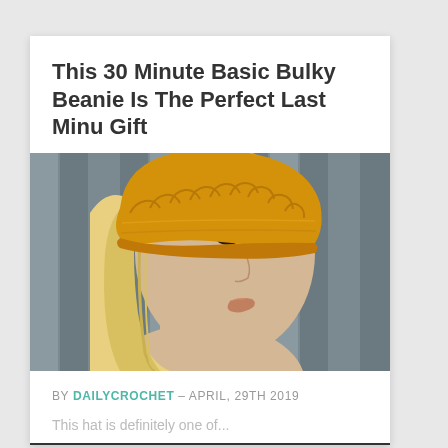This 30 Minute Basic Bulky Beanie Is The Perfect Last Minu Gift
[Figure (photo): A mannequin head wearing a golden yellow chunky crochet beanie hat, shown in profile against a wooden fence background. The mannequin has blonde hair and realistic facial features.]
BY DAILYCROCHET - APRIL, 29TH 2019
This hat is definitely one of...